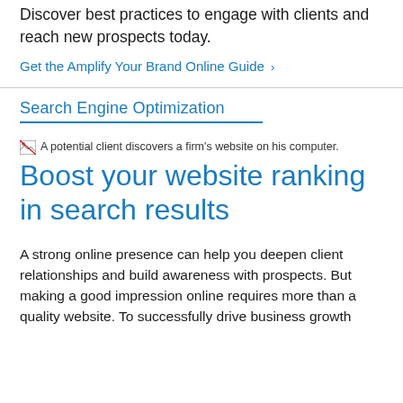Discover best practices to engage with clients and reach new prospects today.
Get the Amplify Your Brand Online Guide >
Search Engine Optimization
[Figure (photo): A potential client discovers a firm's website on his computer.]
A potential client discovers a firm's website on his computer.
Boost your website ranking in search results
A strong online presence can help you deepen client relationships and build awareness with prospects. But making a good impression online requires more than a quality website. To successfully drive business growth